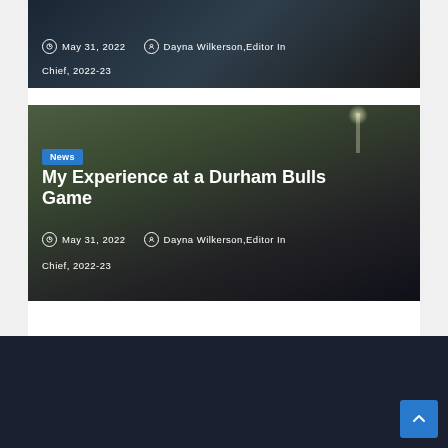[Figure (photo): Top partial image card showing a person in dark clothing with white decorative elements, overlaid with date and author metadata in white text]
May 31, 2022   Dayna Wilkerson, Editor In Chief, 2022-23
[Figure (photo): Photo of Durham Bulls baseball stadium with packed stands and field visible under stadium lights, with a News badge and article title overlaid]
My Experience at a Durham Bulls Game
May 31, 2022   Dayna Wilkerson, Editor In Chief, 2022-23